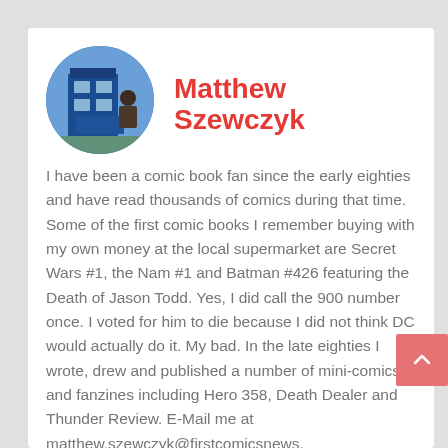[Figure (photo): Circular avatar photo of Matthew Szewczyk standing in front of a blue TARDIS police box]
Matthew Szewczyk
I have been a comic book fan since the early eighties and have read thousands of comics during that time. Some of the first comic books I remember buying with my own money at the local supermarket are Secret Wars #1, the Nam #1 and Batman #426 featuring the Death of Jason Todd. Yes, I did call the 900 number once. I voted for him to die because I did not think DC would actually do it. My bad. In the late eighties I wrote, drew and published a number of mini-comics and fanzines including Hero 358, Death Dealer and Thunder Review. E-Mail me at matthew.szewczyk@firstcomicsnews.